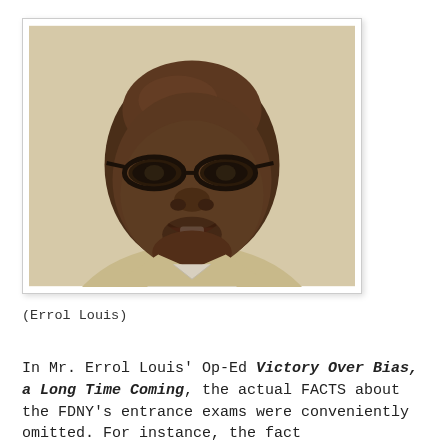[Figure (photo): Headshot of Errol Louis, a bald Black man wearing oval black-framed glasses and a light tan blazer, smiling slightly against a beige background.]
(Errol Louis)
In Mr. Errol Louis' Op-Ed Victory Over Bias, a Long Time Coming, the actual FACTS about the FDNY's entrance exams were conveniently omitted. For instance, the fact